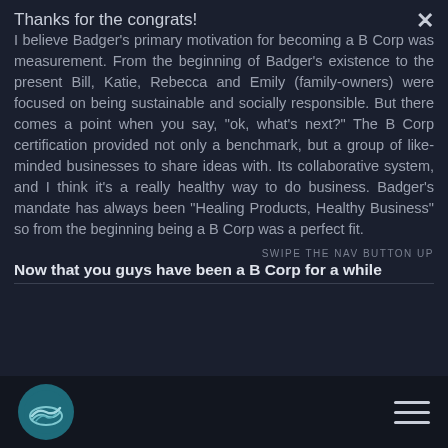Thanks for the congrats!
I believe Badger's primary motivation for becoming a B Corp was measurement. From the beginning of Badger's existence to the present Bill, Katie, Rebecca and Emily (family-owners) were focused on being sustainable and socially responsible. But there comes a point when you say, "ok, what's next?" The B Corp certification provided not only a benchmark, but a group of like-minded businesses to share ideas with. Its collaborative system, and I think it's a really healthy way to do business. Badger's mandate has always been "Healing Products, Healthy Business" so from the beginning being a B Corp was a perfect fit.
SWIPE THE NAV BUTTON UP
Now that you guys have been a B Corp for a while
[Figure (logo): Circular logo with teal/blue background showing wave design, W logo mark]
[Figure (other): Hamburger menu icon (three horizontal lines)]